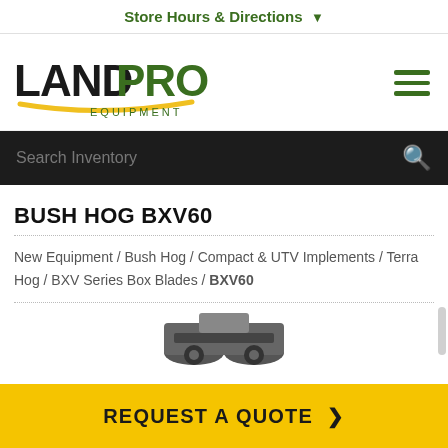Store Hours & Directions ▾
[Figure (logo): LandPro Equipment logo — LAND in black bold, PRO in dark green bold, EQUIPMENT in dark green small caps, with a yellow swoosh underline]
BUSH HOG BXV60
New Equipment / Bush Hog / Compact & UTV Implements / Terra Hog / BXV Series Box Blades / BXV60
[Figure (photo): Partial view of a Bush Hog BXV60 box blade implement, partially cut off at bottom of page]
REQUEST A QUOTE ❯